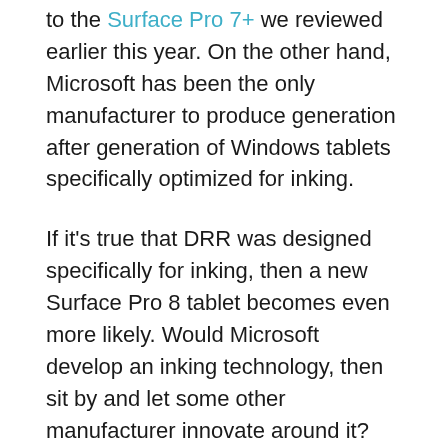to the Surface Pro 7+ we reviewed earlier this year. On the other hand, Microsoft has been the only manufacturer to produce generation after generation of Windows tablets specifically optimized for inking.
If it's true that DRR was designed specifically for inking, then a new Surface Pro 8 tablet becomes even more likely. Would Microsoft develop an inking technology, then sit by and let some other manufacturer innovate around it? Probably not.
It's also likely, then, that a new Surface Pro tablet from Microsoft is due in the fall. We know that Windows 11, and Windows 11-based PCs, will debut in time for the holidays. More clues are leading us